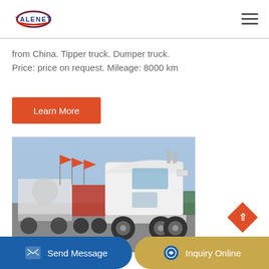TALENET
from China. Tipper truck. Dumper truck. Price: price on request. Mileage: 8000 km
Learn More
[Figure (photo): A white heavy-duty tractor truck (HOWO) parked in a lot with other trucks and vehicles, flags visible in the background, under a blue sky.]
Send Message
Inquiry Online